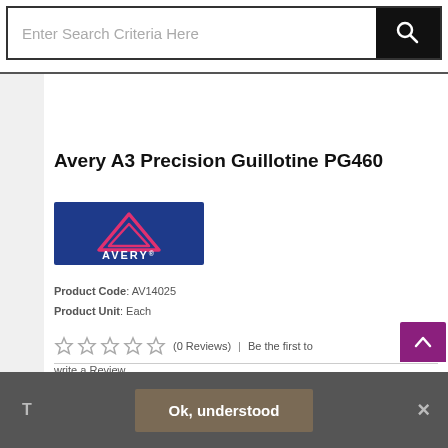[Figure (screenshot): Search bar with text 'Enter Search Criteria Here' and a black search button with magnifying glass icon]
Avery A3 Precision Guillotine PG460
[Figure (logo): Avery logo: blue rectangle background with pink/magenta triangle outline and AVERY text in white]
Product Code: AV14025
Product Unit: Each
☆ ☆ ☆ ☆ ☆  (0 Reviews)  |  Be the first to write a Review
[Figure (screenshot): Purple back-to-top button in bottom right corner]
T
Ok, understood
×